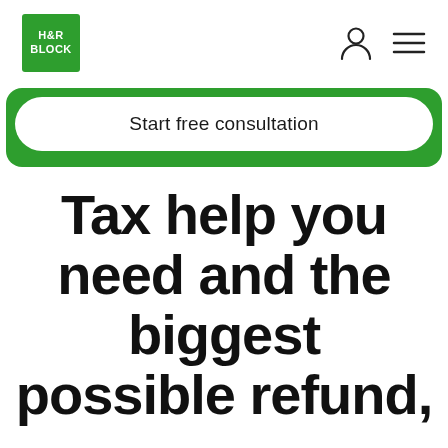H&R BLOCK
Start free consultation
Tax help you need and the biggest possible refund,